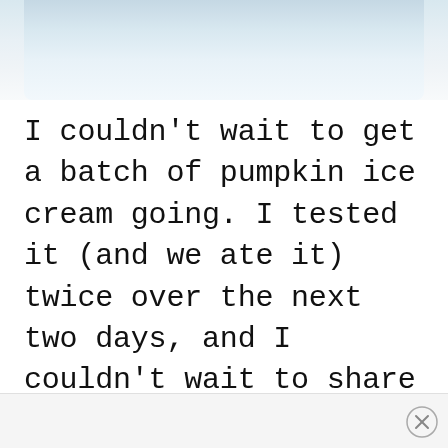[Figure (photo): Partial view of a white bowl or plate, cropped at top of page, light blue-white background]
I couldn't wait to get a batch of pumpkin ice cream going. I tested it (and we ate it) twice over the next two days, and I couldn't wait to share it with you!
×